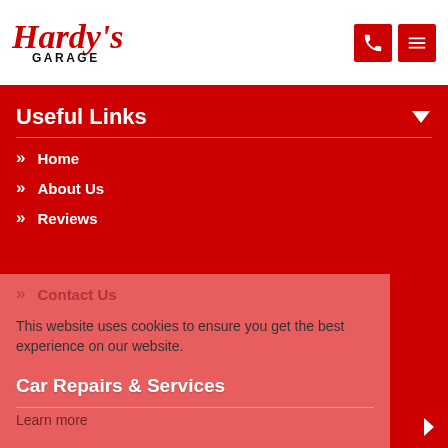Hardy's Garage
Useful Links
Home
About Us
Reviews
Contact Us
This website uses cookies to ensure you get the best experience on our website.
Learn more
Accept and continue
Car Repairs & Services
Car Servicing